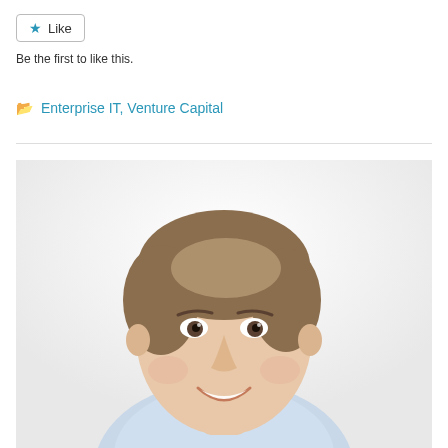Like
Be the first to like this.
Enterprise IT, Venture Capital
[Figure (photo): Professional headshot of a smiling middle-aged man with brown hair, wearing a light blue shirt, against a white background.]